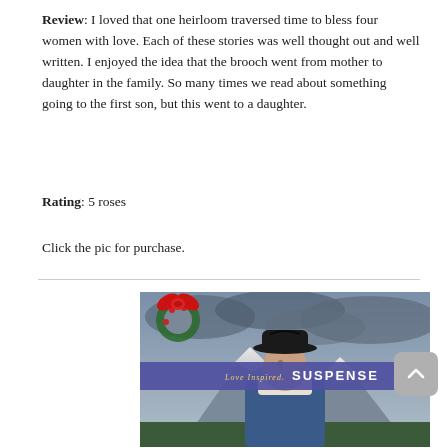Review: I loved that one heirloom traversed time to bless four women with love. Each of these stories was well thought out and well written. I enjoyed the idea that the brooch went from mother to daughter in the family. So many times we read about something going to the first son, but this went to a daughter.
Rating: 5 roses
Click the pic for purchase.
[Figure (photo): Book cover for Love Inspired Suspense showing a man in a cowboy hat and denim jacket with sherpa collar, standing in front of snow-capped mountains under a dramatic cloudy sky. In the upper left corner there is a Christmas wreath with a large red bow. The Love Inspired Suspense logo banner is across the middle.]